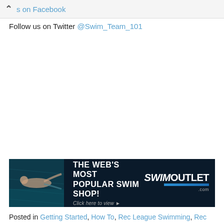s on Facebook
Follow us on Twitter @Swim_Team_101
[Figure (advertisement): SwimOutlet.com banner advertisement: 'The Web's Most Popular Swim Shop! Click here to view' with swimmer image on left and SwimOutlet logo on right]
Posted in Getting Started, How To, Rec League Swimming, Rec Swimming, Uncategorized